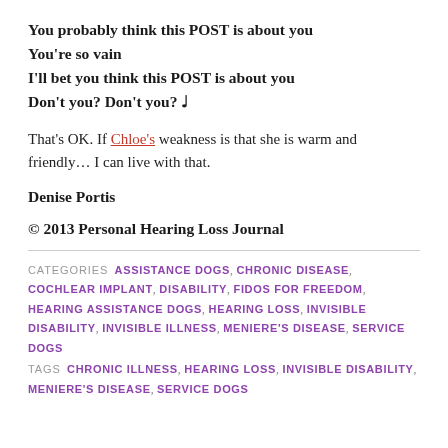You probably think this POST is about you
You're so vain
I'll bet you think this POST is about you
Don't you? Don't you? ♩
That's OK. If Chloe's weakness is that she is warm and friendly… I can live with that.
Denise Portis
© 2013 Personal Hearing Loss Journal
CATEGORIES  ASSISTANCE DOGS, CHRONIC DISEASE, COCHLEAR IMPLANT, DISABILITY, FIDOS FOR FREEDOM, HEARING ASSISTANCE DOGS, HEARING LOSS, INVISIBLE DISABILITY, INVISIBLE ILLNESS, MENIERE'S DISEASE, SERVICE DOGS
TAGS  CHRONIC ILLNESS, HEARING LOSS, INVISIBLE DISABILITY, MENIERE'S DISEASE, SERVICE DOGS